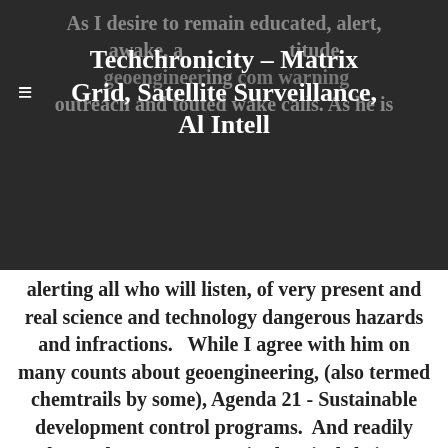As I desire to remain educated, alert, awake, and informed... Techchronicity - Matrix Grid, Satellite Surveillance, Al Intell ... geoengineering ... com warning outreach and touted wake calls. As he is
Techchronicity – Matrix Grid, Satellite Surveillance, Al Intell
alerting all who will listen, of very present and real science and technology dangerous hazards and infractions.   While I agree with him on many counts about geoengineering, (also termed chemtrails by some), Agenda 21 - Sustainable development control programs.  And readily know there are vast toxic chemicals being sprayed into our air space and sky, creating and causing humanity serious health and welfare issues.  As well as foundational earth infractions (yes, our trees and many food source yields